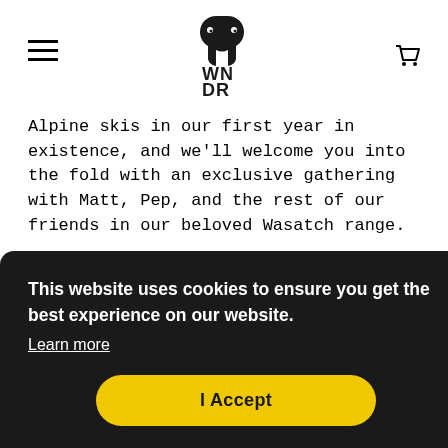WNDR WONDER ALPINE (logo, hamburger menu, cart)
Alpine skis in our first year in existence, and we'll welcome you into the fold with an exclusive gathering with Matt, Pep, and the rest of our friends in our beloved Wasatch range.
What it turned into was something much bigger...
[Figure (screenshot): Video thumbnail strip showing WNDR Alpine logo circle on dark background, text 'WNDR Alpine: Roost 2020' in white, with ski action image background and three-dot menu icon on right]
This website uses cookies to ensure you get the best experience on our website. Learn more
I Accept